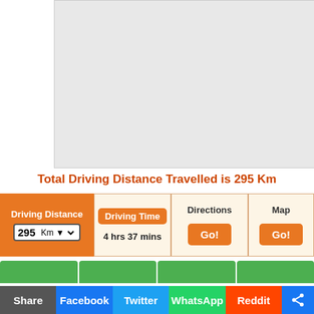[Figure (other): Map placeholder area showing a light gray background representing a map]
Total Driving Distance Travelled is 295 Km
Driving Distance 295 Km
Driving Time 4 hrs 37 mins
Directions Go!
Map Go!
Share Facebook Twitter WhatsApp Reddit